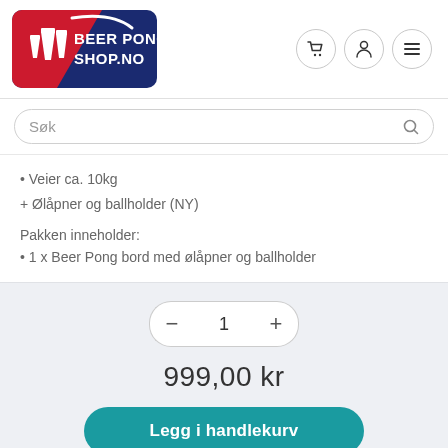[Figure (logo): Beer Pong Shop.no logo — red and dark navy rounded rectangle with white beer cups silhouette and white bold text BEER PONG SHOP.NO]
Søk
• Veier ca. 10kg
+ Ølåpner og ballholder (NY)
Pakken inneholder:
• 1 x Beer Pong bord med ølåpner og ballholder
1
999,00 kr
Legg i handlekurv